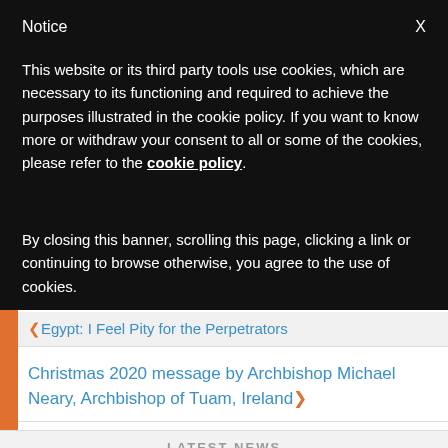Notice
This website or its third party tools use cookies, which are necessary to its functioning and required to achieve the purposes illustrated in the cookie policy. If you want to know more or withdraw your consent to all or some of the cookies, please refer to the cookie policy.
By closing this banner, scrolling this page, clicking a link or continuing to browse otherwise, you agree to the use of cookies.
Egypt: I Feel Pity for the Perpetrators
Christmas 2020 message by Archbishop Michael Neary, Archbishop of Tuam, Ireland
LATEST NEWS